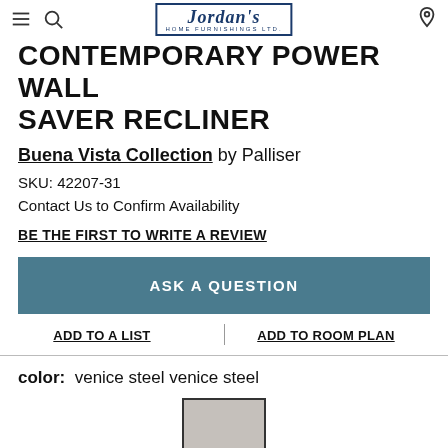Jordan's Home Furnishings Ltd.
CONTEMPORARY POWER WALL SAVER RECLINER
Buena Vista Collection by Palliser
SKU: 42207-31
Contact Us to Confirm Availability
BE THE FIRST TO WRITE A REVIEW
ASK A QUESTION
ADD TO A LIST
ADD TO ROOM PLAN
color: venice steel venice steel
[Figure (illustration): Color swatch for venice steel, a grey-beige tone]